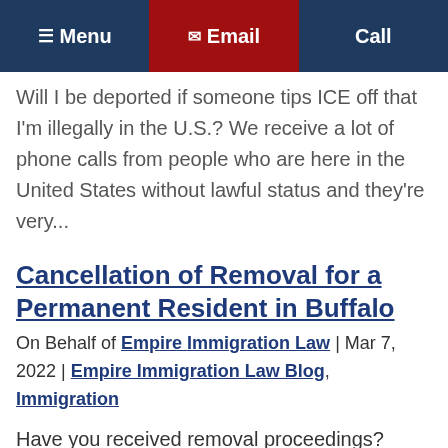Menu | Email | Call
Will I be deported if someone tips ICE off that I'm illegally in the U.S.? We receive a lot of phone calls from people who are here in the United States without lawful status and they're very...
Cancellation of Removal for a Permanent Resident in Buffalo
On Behalf of Empire Immigration Law | Mar 7, 2022 | Empire Immigration Law Blog, Immigration
Have you received removal proceedings? Watch this video about cancellation of removal for permanent resident in Buffalo, then contact us now. Question: Am I Eligible for Cancellation of Removal if I am a Lawful Permanent Resident?